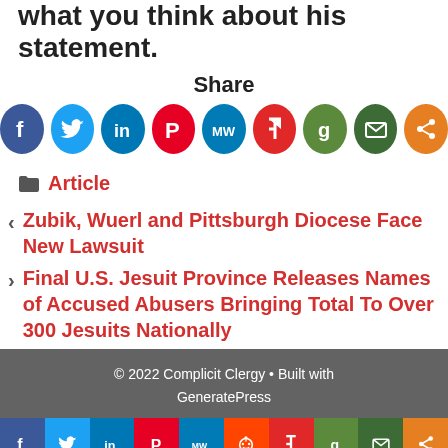what you think about his statement.
[Figure (infographic): Share label with row of 9 social media icon circles: Facebook (blue), Twitter (light blue), LinkedIn (dark blue), Pinterest (red), MeWe (teal), Flipboard/torch (red), Goodreads (green), Email (dark green), Share (orange)]
Article
Zubik, Wuerl and Pittsburgh Diocese Face New Lawsuit
Final U.S. Jesuit Province Releases Names of Accused Abusers Bringing Total To Over 300 Jesuits Nationally
© 2022 Complicit Clergy • Built with GeneratePress
[Figure (infographic): Bottom social media share bar with icons: Facebook, Twitter, LinkedIn, Pinterest, MeWe, Reddit, Flipboard, Goodreads, Email, Share]